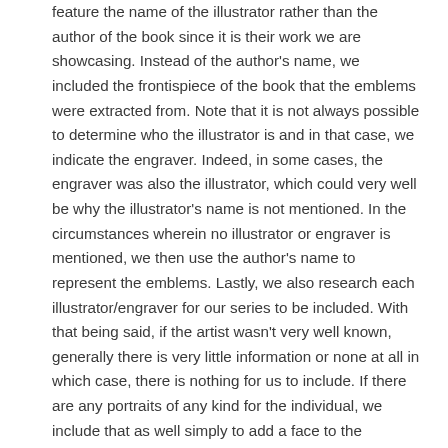feature the name of the illustrator rather than the author of the book since it is their work we are showcasing. Instead of the author's name, we included the frontispiece of the book that the emblems were extracted from. Note that it is not always possible to determine who the illustrator is and in that case, we indicate the engraver. Indeed, in some cases, the engraver was also the illustrator, which could very well be why the illustrator's name is not mentioned. In the circumstances wherein no illustrator or engraver is mentioned, we then use the author's name to represent the emblems. Lastly, we also research each illustrator/engraver for our series to be included. With that being said, if the artist wasn't very well known, generally there is very little information or none at all in which case, there is nothing for us to include. If there are any portraits of any kind for the individual, we include that as well simply to add a face to the illustrations if you will. In addition to the colored emblem series, we are currently publishing emblem books that were originally in black and white, or whatever color the paper was. They too have been enlarged and minimally enhanced. Too much enhancement washes away fine lines which we try to avoid as much as possible. Each emblem will typically have its unique enhancement features. Considerations such as where the book originated from,